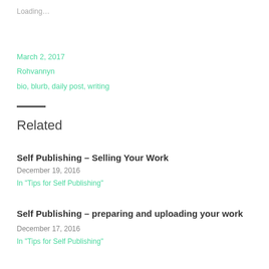Loading…
March 2, 2017
Rohvannyn
bio, blurb, daily post, writing
Related
Self Publishing – Selling Your Work
December 19, 2016
In "Tips for Self Publishing"
Self Publishing – preparing and uploading your work
December 17, 2016
In "Tips for Self Publishing"